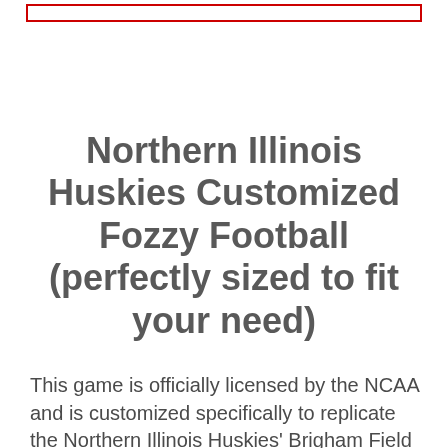Northern Illinois Huskies Customized Fozzy Football (perfectly sized to fit your need)
This game is officially licensed by the NCAA and is customized specifically to replicate the Northern Illinois Huskies' Brigham Field at